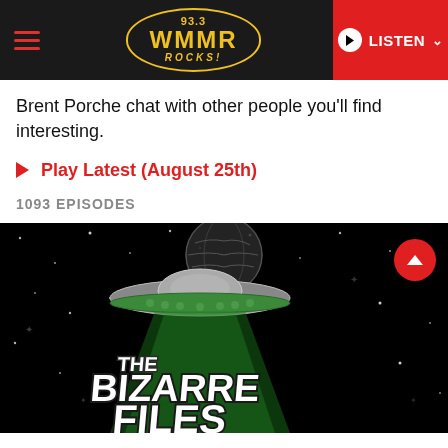[Figure (screenshot): 93.3 WMMR Rocks radio station website header with hamburger menu, yellow oval logo, and red LISTEN button]
Brent Porche chat with other people you'll find interesting.
Play Latest (August 25th)
1093 EPISODES
[Figure (illustration): The Bizarre Files logo: flying saucer spaceship over Earth in space with green beam, stylized retro text reading THE BIZARRE FILES]